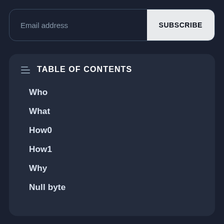upcoming articles
Email address  SUBSCRIBE
TABLE OF CONTENTS
Who
What
How0
How1
Why
Null byte